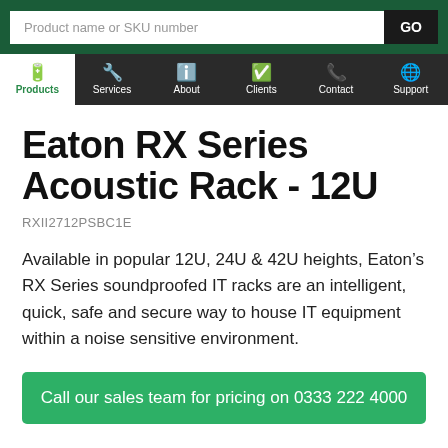Product name or SKU number | GO
Products | Services | About | Clients | Contact | Support
Eaton RX Series Acoustic Rack - 12U
RXII2712PSBC1E
Available in popular 12U, 24U & 42U heights, Eaton’s RX Series soundproofed IT racks are an intelligent, quick, safe and secure way to house IT equipment within a noise sensitive environment.
Call our sales team for pricing on 0333 222 4000